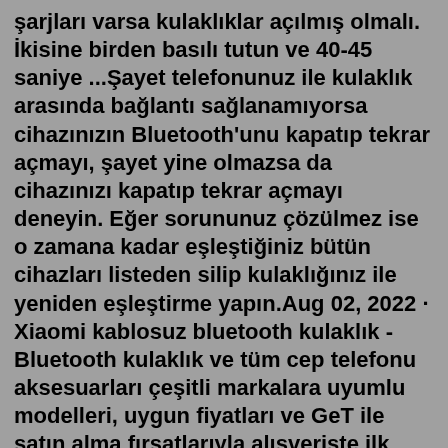şarjları varsa kulaklıklar açılmış olmalı. İkisine birden basılı tutun ve 40-45 saniye ...Şayet telefonunuz ile kulaklık arasında bağlantı sağlanamıyorsa cihazınızın Bluetooth'unu kapatıp tekrar açmayı, şayet yine olmazsa da cihazınızı kapatıp tekrar açmayı deneyin. Eğer sorununuz çözülmez ise o zamana kadar eşleştiğiniz bütün cihazları listeden silip kulaklığınız ile yeniden eşleştirme yapın.Aug 02, 2022 · Xiaomi kablosuz bluetooth kulaklık - Bluetooth kulaklık ve tüm cep telefonu aksesuarları çeşitli markalara uyumlu modelleri, uygun fiyatları ve GeT ile satın alma fırsatlarıyla alışverişte ilk adres sahibinden.com'da Oct 29, 2021 · 5 Ekim 2021. Mesajlar. 96. 29 Ekim 2021. #1. Xiaomi Redmi Note 10 isimli telefona sahibim. Subzero Makaralı kulaklık aldım ama kulaklığı açtığım halde telefonun Bluetooth'unu açtığım zaman kulaklık görünmüyor. Başka bir cihazda da denedim kulaklık yine görünmüyor. Çözüm. Şayet telefonunuz ile kulaklık arasında bağlantı sağlanamıyorsa cihazınızın Bluetooth'unu